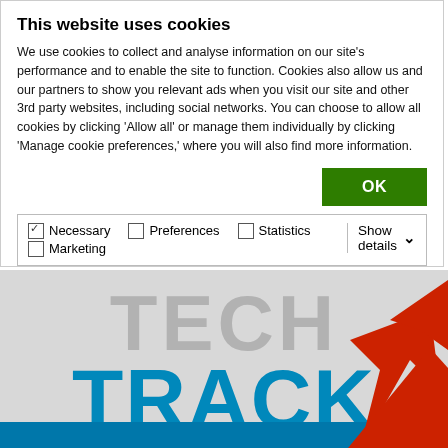This website uses cookies
We use cookies to collect and analyse information on our site's performance and to enable the site to function. Cookies also allow us and our partners to show you relevant ads when you visit our site and other 3rd party websites, including social networks. You can choose to allow all cookies by clicking ‘Allow all’ or manage them individually by clicking ‘Manage cookie preferences,’ where you will also find more information.
OK
Necessary  Preferences  Statistics  Show details  Marketing
[Figure (illustration): Tech Track branding image with large grey 'TECH' text, blue bold 'TRACK' text, a red upward arrow, and a blue bar at the bottom on a grey background.]